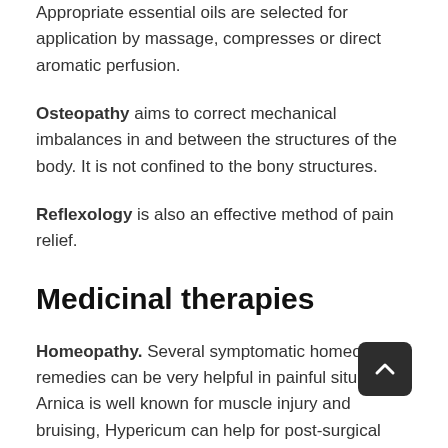Appropriate essential oils are selected for application by massage, compresses or direct aromatic perfusion.
Osteopathy aims to correct mechanical imbalances in and between the structures of the body. It is not confined to the bony structures.
Reflexology is also an effective method of pain relief.
Medicinal therapies
Homeopathy. Several symptomatic homeopathic remedies can be very helpful in painful situations. Arnica is well known for muscle injury and bruising, Hypericum can help for post-surgical pain or nerve end pains, Chamomilla has helped countless babies cope with teething pains, and Mag Phos often relieves colic or stomach cramps. There are too many others to